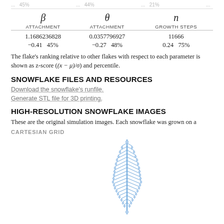... 45%   ... 44%   ... 21%   ...
| β ATTACHMENT | θ ATTACHMENT | n GROWTH STEPS |
| --- | --- | --- |
| 1.1686236828 | 0.0357796927 | 11666 |
| −0.41   45% | −0.27   48% | 0.24   75% |
The flake's ranking relative to other flakes with respect to each parameter is shown as z-score (x − μ)/σ and percentile.
SNOWFLAKE FILES AND RESOURCES
Download the snowflake's runfile.
Generate STL file for 3D printing.
HIGH-RESOLUTION SNOWFLAKE IMAGES
These are the original simulation images. Each snowflake was grown on a ...
CARTESIAN GRID
[Figure (illustration): A blue snowflake crystal rendered as a tall narrow dendritic structure with symmetric branches, resembling a stylized fern or Christmas tree shape, shown in blue outline/fill on white background.]